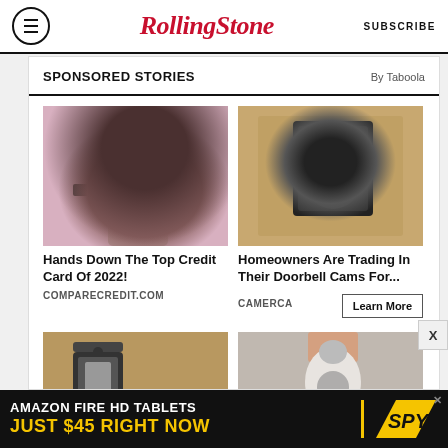RollingStone | SUBSCRIBE
SPONSORED STORIES | By Taboola
[Figure (photo): Woman holding a small card/device, ad for credit card]
Hands Down The Top Credit Card Of 2022!
COMPARECREDIT.COM
[Figure (photo): Security camera mounted on exterior wall]
Homeowners Are Trading In Their Doorbell Cams For...
CAMERCA
Learn More
[Figure (photo): Outdoor lantern/light fixture on wall, partial image]
[Figure (photo): Person holding a smart light bulb, partial image]
[Figure (infographic): Amazon Fire HD Tablets advertisement: AMAZON FIRE HD TABLETS JUST $45 RIGHT NOW / SPY logo]